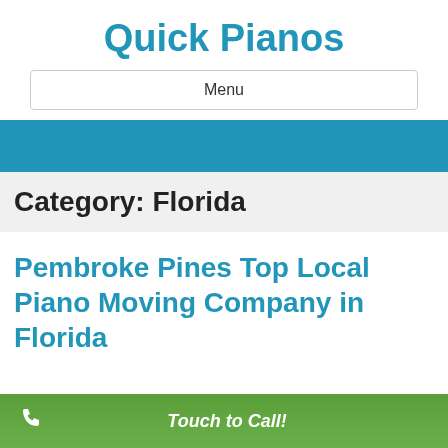Quick Pianos
Menu
Category: Florida
Pembroke Pines Top Local Piano Moving Company in Florida
Touch to Call!